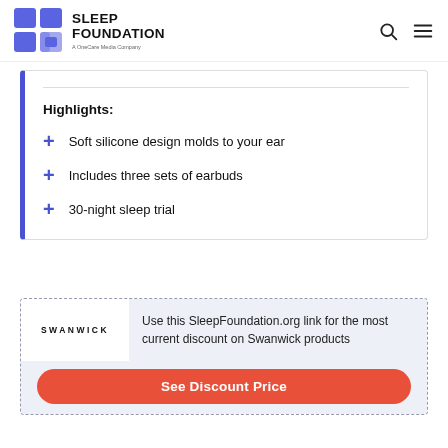SLEEP FOUNDATION — A OneCare Media Company
Highlights:
Soft silicone design molds to your ear
Includes three sets of earbuds
30-night sleep trial
Use this SleepFoundation.org link for the most current discount on Swanwick products
[Figure (logo): SWANWICK brand logo text]
See Discount Price